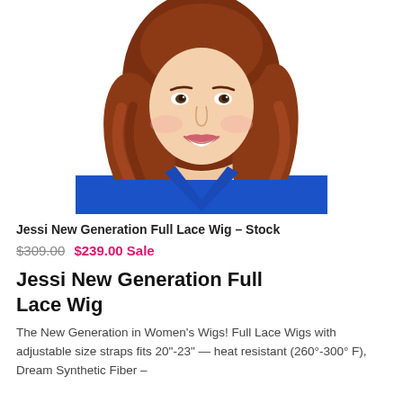[Figure (photo): Woman with auburn/red wavy hair wearing a royal blue V-neck top, smiling, product photo for wig listing]
Jessi New Generation Full Lace Wig – Stock
$309.00  $239.00 Sale
Jessi New Generation Full Lace Wig
The New Generation in Women's Wigs! Full Lace Wigs with adjustable size straps fits 20"-23" — heat resistant (260°-300° F), Dream Synthetic Fiber –